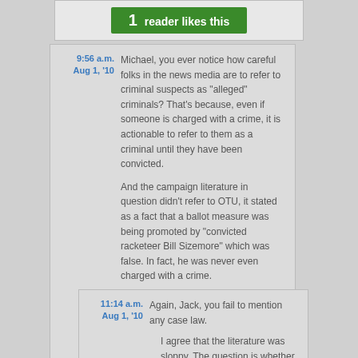[Figure (other): Green button showing '1 reader likes this']
9:56 a.m. Aug 1, '10 — Michael, you ever notice how careful folks in the news media are to refer to criminal suspects as "alleged" criminals? That's because, even if someone is charged with a crime, it is actionable to refer to them as a criminal until they have been convicted.

And the campaign literature in question didn't refer to OTU, it stated as a fact that a ballot measure was being promoted by "convicted racketeer Bill Sizemore" which was false. In fact, he was never even charged with a crime.

I don't know how this litigation will turn out, but I think by pursuing it Bill Sizemore is trying to hold the folks who put out the false campaign material responsible for their actions, which from your last comment I assume you agree is admirable.
11:14 a.m. Aug 1, '10 — Again, Jack, you fail to mention any case law.

I agree that the literature was sloppy. The question is whether it rises to the level of libel. Keep in mind, too, that the burden of proof likely is...